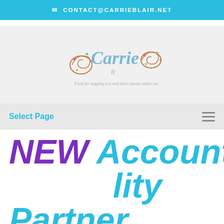✉ CONTACT@CARRIEBLAIR.NET
[Figure (logo): Carrie Blair decorative script logo with floral/swirl ornaments and tagline text]
Select Page
NEW Accountability Partner